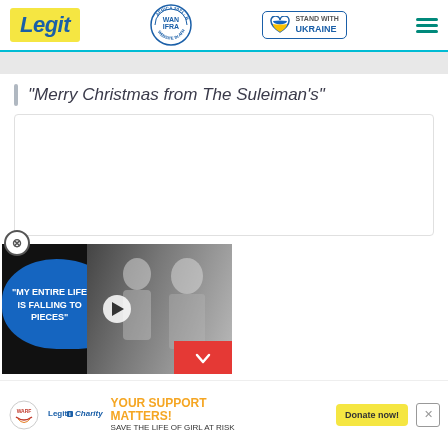Legit | WAN IFRA 2021 Best News Website in Africa | Stand With Ukraine
"Merry Christmas from The Suleiman's"
[Figure (screenshot): Video player overlay showing two people (man and woman) with text 'MY ENTIRE LIFE IS FALLING TO PIECES' on a blue background, with a play button in the center and a red chevron/close button.]
[Figure (infographic): Bottom advertisement banner: WARF logo, Legit Charity logo, text 'YOUR SUPPORT MATTERS! SAVE THE LIFE OF GIRL AT RISK', and a 'Donate now!' yellow button.]